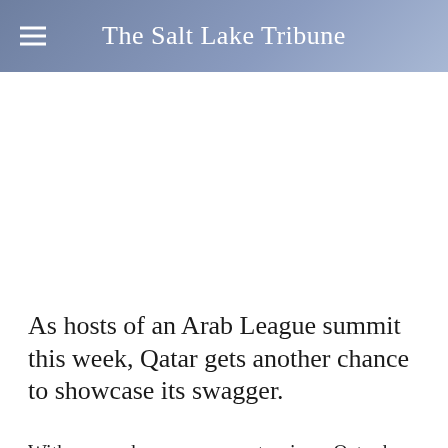The Salt Lake Tribune
As hosts of an Arab League summit this week, Qatar gets another chance to showcase its swagger.
With power, however, come tensions. Qatar has been